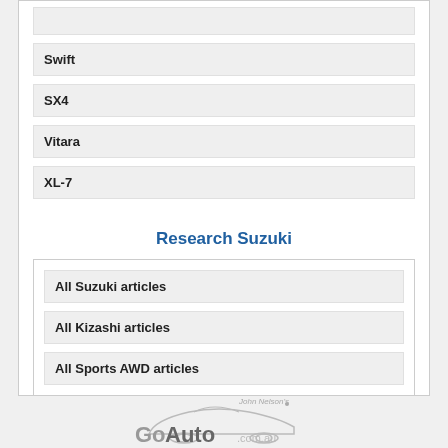Swift
SX4
Vitara
XL-7
Research Suzuki
All Suzuki articles
All Kizashi articles
All Sports AWD articles
GoAuto.com.au